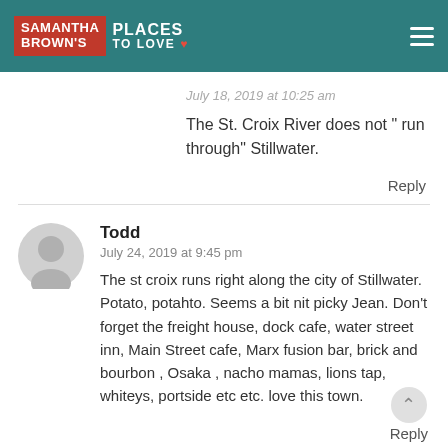Samantha Brown's Places to Love
July 18, 2019 at 10:25 am
The St. Croix River does not “ run through” Stillwater.
Reply
Todd
July 24, 2019 at 9:45 pm
The st croix runs right along the city of Stillwater. Potato, potahto. Seems a bit nit picky Jean. Don’t forget the freight house, dock cafe, water street inn, Main Street cafe, Marx fusion bar, brick and bourbon , Osaka , nacho mamas, lions tap, whiteys, portside etc etc. love this town.
Reply